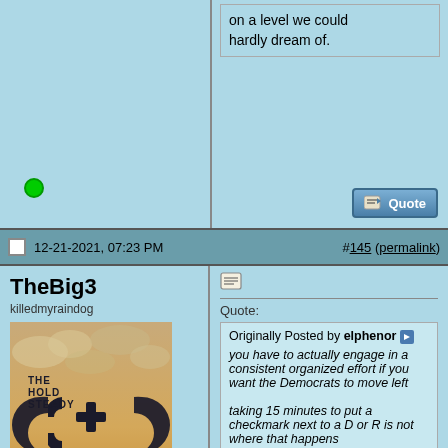on a level we could hardly dream of.
12-21-2021, 07:23 PM
#145 (permalink)
TheBig3
killedmyraindog
[Figure (photo): The Hold Steady - Stay Positive band logo/album artwork: black graphic design with interlocking C shapes and a plus sign on a tan/orange background with clouds. Text reads THE HOLD STEADY STAY POSITIVE.]
Join Date: Aug 2004
Location: Boston, Massachusetts
Posts: 10,592
Quote:
Originally Posted by elphenor
you have to actually engage in a consistent organized effort if you want the Democrats to move left

taking 15 minutes to put a checkmark next to a D or R is not where that happens
You're right. Voting has no impact. That's why Republicans gerrymander. Because it doesn't matter.